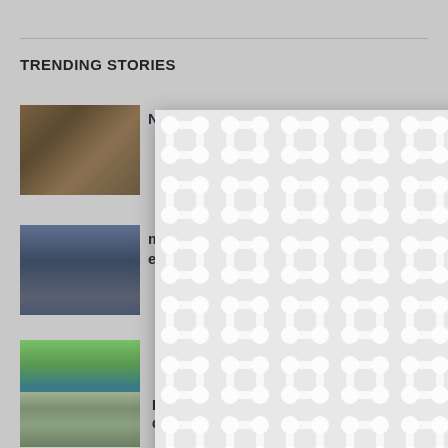TRENDING STORIES
[Figure (photo): Crowd scene with OZ sign]
New
[Figure (photo): Man in suit with sunglasses]
matter ents
[Figure (photo): Nature/water scene]
[Figure (photo): Forest with birch trees]
Forest Service to aid private owners on carbon markets, climate
[Figure (other): Modal overlay with repeating pattern and X close button]